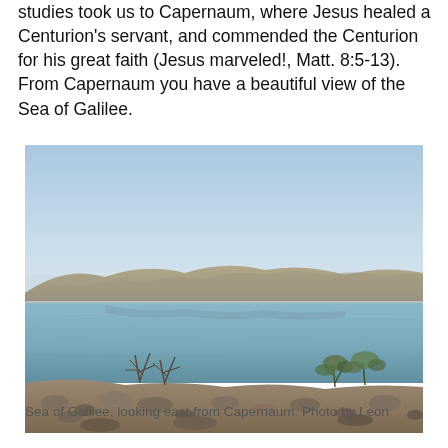studies took us to Capernaum, where Jesus healed a Centurion's servant, and commended the Centurion for his great faith (Jesus marveled!, Matt. 8:5-13). From Capernaum you have a beautiful view of the Sea of Galilee.
[Figure (photo): Photograph of the Sea of Galilee looking east from Capernaum. The foreground shows rocky shoreline with dry shrubs and bushes. The middle ground shows calm blue-green water reflecting the sky. The background shows rolling hills under a hazy light blue sky.]
Sea of Galilee, looking east from Capernaum. Photo by Leon